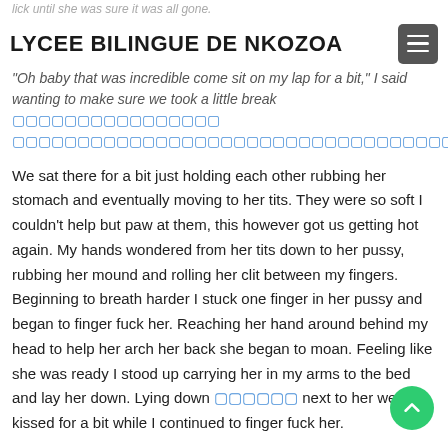lick until she was sure it was all gone.
LYCEE BILINGUE DE NKOZOA
"Oh baby that was incredible come sit on my lap for a bit," I said wanting to make sure we took a little break [linked text] [linked text].
We sat there for a bit just holding each other rubbing her stomach and eventually moving to her tits. They were so soft I couldn't help but paw at them, this however got us getting hot again. My hands wondered from her tits down to her pussy, rubbing her mound and rolling her clit between my fingers. Beginning to breath harder I stuck one finger in her pussy and began to finger fuck her. Reaching her hand around behind my head to help her arch her back she began to moan. Feeling like she was ready I stood up carrying her in my arms to the bed and lay her down. Lying down [linked text] next to her we kissed for a bit while I continued to finger fuck her.
"Don't tease me," she seemed to plead.
"What do you mean," I said wanting to do just that.